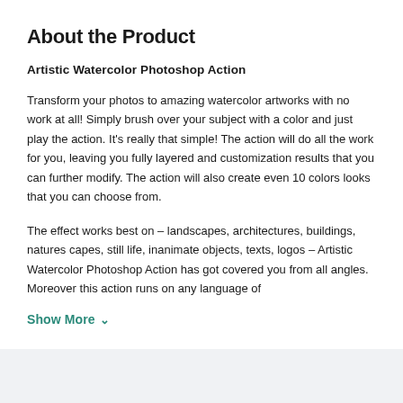About the Product
Artistic Watercolor Photoshop Action
Transform your photos to amazing watercolor artworks with no work at all! Simply brush over your subject with a color and just play the action. It’s really that simple! The action will do all the work for you, leaving you fully layered and customization results that you can further modify. The action will also create even 10 colors looks that you can choose from.
The effect works best on – landscapes, architectures, buildings, natures capes, still life, inanimate objects, texts, logos – Artistic Watercolor Photoshop Action has got covered you from all angles. Moreover this action runs on any language of
Show More ∨